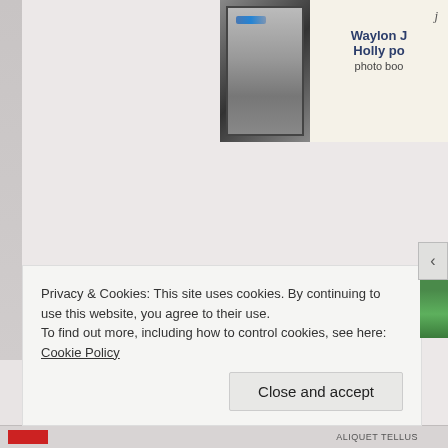[Figure (photo): Top-right section showing a framed photo (dark frame with blue metallic sheen) next to a light-colored card with cursive text and bold text reading 'Waylon J' and 'Holly po' and 'photo boo']
Privacy & Cookies: This site uses cookies. By continuing to use this website, you agree to their use.
To find out more, including how to control cookies, see here: Cookie Policy
Close and accept